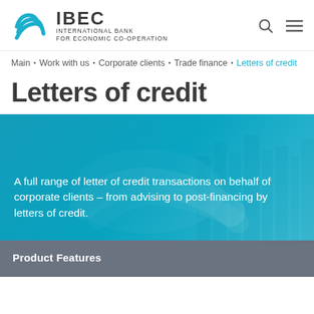[Figure (logo): IBEC International Bank For Economic Co-operation logo with teal circular wave icon]
Main • Work with us • Corporate clients • Trade finance •
Letters of credit
Letters of credit
[Figure (photo): Hero banner with teal overlay showing two people shaking hands in front of a city skyline. Text reads: A full range of letter of credit transactions on behalf of corporate clients – from advising to post-financing by letters of credit.]
Product Features